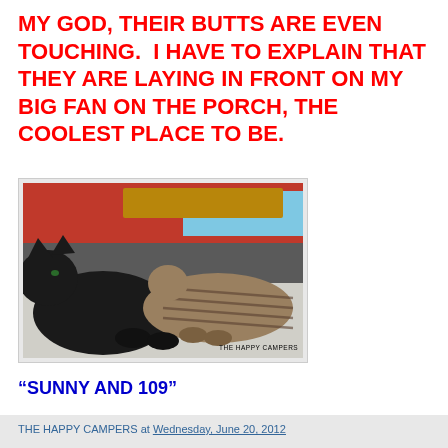MY GOD, THEIR BUTTS ARE EVEN TOUCHING.  I HAVE TO EXPLAIN THAT THEY ARE LAYING IN FRONT ON MY BIG FAN ON THE PORCH, THE COOLEST PLACE TO BE.
[Figure (photo): Two cats lying side by side in front of a fan on a porch — a black cat on the left and a tabby cat on the right. Red and blue items visible in background. Watermark reads THE HAPPY CAMPERS.]
“SUNNY AND 109”
THE HAPPY CAMPERS at Wednesday, June 20, 2012